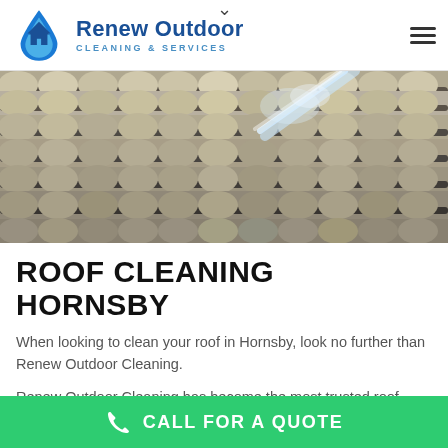[Figure (logo): Renew Outdoor Cleaning & Services logo with blue water drop and house icon]
[Figure (photo): Roof tiles being pressure washed — close-up of terracotta/concrete roof tiles with water spray]
ROOF CLEANING HORNSBY
When looking to clean your roof in Hornsby, look no further than Renew Outdoor Cleaning.
Renew Outdoor Cleaning has become the most trusted roof cleaning business in Hornsby for
CALL FOR A QUOTE